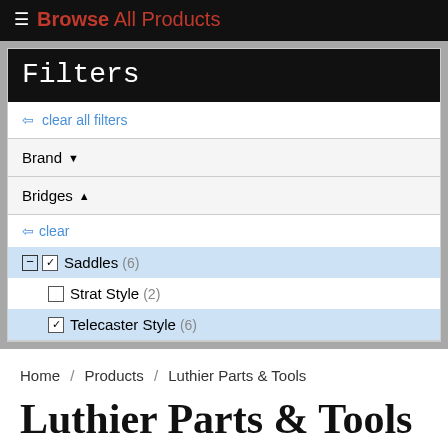≡ Browse All Products
Filters
⇐ clear all filters
Brand ▾
Bridges ▴
⇐ clear
− ☑ Saddles (6)
☐ Strat Style (2)
☑ Telecaster Style (6)
Home / Products / Luthier Parts & Tools
Luthier Parts & Tools